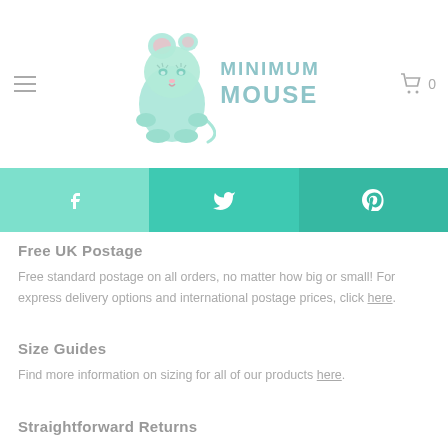Minimum Mouse — navigation header with logo, hamburger menu, and cart icon
[Figure (logo): Minimum Mouse logo: cartoon mint-green mouse illustration next to stylized text reading MINIMUM MOUSE in teal/blue]
[Figure (infographic): Social media share bar with three sections: Facebook (f icon, lighter teal), Twitter (bird icon, medium teal), Pinterest (p icon, darker teal)]
Free UK Postage
Free standard postage on all orders, no matter how big or small! For express delivery options and international postage prices, click here.
Size Guides
Find more information on sizing for all of our products here.
Straightforward Returns
Need to return an item? No problem! You can return your item for any reason